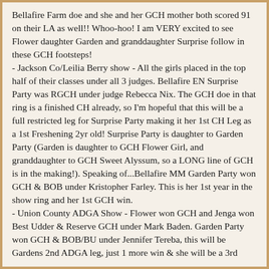Bellafire Farm doe and she and her GCH mother both scored 91 on their LA as well!! Whoo-hoo! I am VERY excited to see Flower daughter Garden and granddaughter Surprise follow in these GCH footsteps!
- Jackson Co/Leilia Berry show - All the girls placed in the top half of their classes under all 3 judges. Bellafire EN Surprise Party was RGCH under judge Rebecca Nix. The GCH doe in that ring is a finished CH already, so I'm hopeful that this will be a full restricted leg for Surprise Party making it her 1st CH Leg as a 1st Freshening 2yr old! Surprise Party is daughter to Garden Party (Garden is daughter to GCH Flower Girl, and granddaughter to GCH Sweet Alyssum, so a LONG line of GCH is in the making!). Speaking of...Bellafire MM Garden Party won GCH & BOB under Kristopher Farley. This is her 1st year in the show ring and her 1st GCH win.
- Union County ADGA Show - Flower won GCH and Jenga won Best Udder & Reserve GCH under Mark Baden. Garden Party won GCH & BOB/BU under Jennifer Tereba, this will be Gardens 2nd ADGA leg, just 1 more win & she will be a 3rd